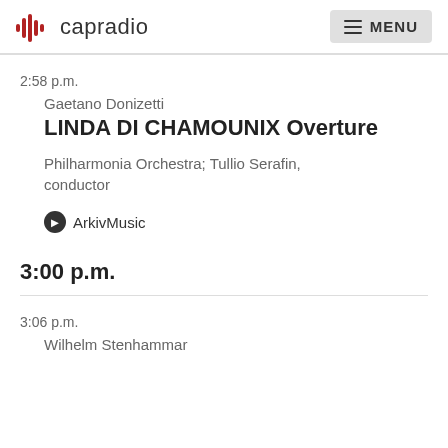capradio  MENU
2:58 p.m.
Gaetano Donizetti
LINDA DI CHAMOUNIX Overture
Philharmonia Orchestra; Tullio Serafin, conductor
ArkivMusic
3:00 p.m.
3:06 p.m.
Wilhelm Stenhammar